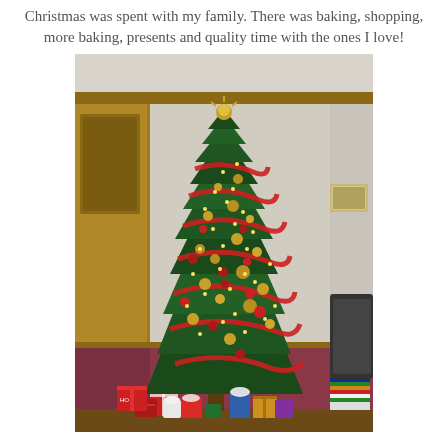Christmas was spent with my family. There was baking, shopping, more baking, presents and quality time with the ones I love!
[Figure (photo): A tall decorated Christmas tree with red ribbon garland, gold and red ornaments, lights, and a topper, standing in a living room with wood trim walls. Wrapped presents and gift bags are piled beneath the tree. A stack of magazines and other items are visible to the right.]